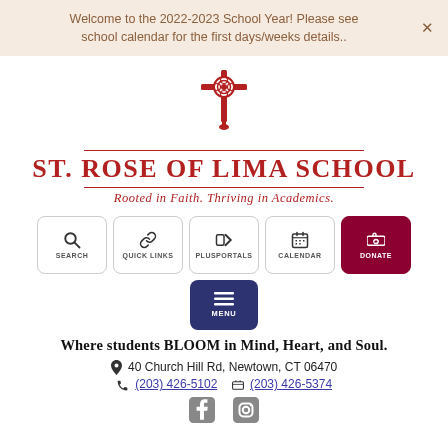Welcome to the 2022-2023 School Year! Please see school calendar for the first days/weeks details..
[Figure (logo): St. Rose of Lima School logo with red cross and rose emblem above the school name text]
ST. ROSE OF LIMA SCHOOL
Rooted in Faith. Thriving in Academics.
[Figure (infographic): Navigation buttons: Search, Quick Links, PlusPortals, Calendar, Donate, Menu]
Where students BLOOM in Mind, Heart, and Soul.
40 Church Hill Rd, Newtown, CT 06470
(203) 426-5102    (203) 426-5374
[Figure (illustration): Facebook and Instagram social media icons]